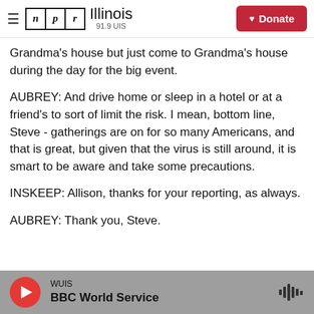NPR Illinois 91.9 UIS | Donate
Grandma's house but just come to Grandma's house during the day for the big event.
AUBREY: And drive home or sleep in a hotel or at a friend's to sort of limit the risk. I mean, bottom line, Steve - gatherings are on for so many Americans, and that is great, but given that the virus is still around, it is smart to be aware and take some precautions.
INSKEEP: Allison, thanks for your reporting, as always.
AUBREY: Thank you, Steve.
WUIS · BBC World Service